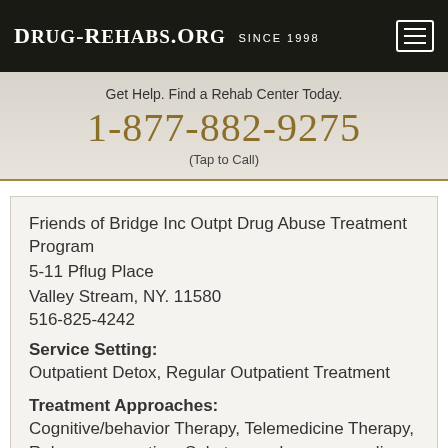DRUG-REHABS.ORG SINCE 1998
Get Help. Find a Rehab Center Today.
1-877-882-9275
(Tap to Call)
Friends of Bridge Inc Outpt Drug Abuse Treatment Program
5-11 Pflug Place
Valley Stream, NY. 11580
516-825-4242
Service Setting:
Outpatient Detox, Regular Outpatient Treatment
Treatment Approaches:
Cognitive/behavior Therapy, Telemedicine Therapy, Relapse prevention, Substance abuse counseling approach, 12-step facilitation approach